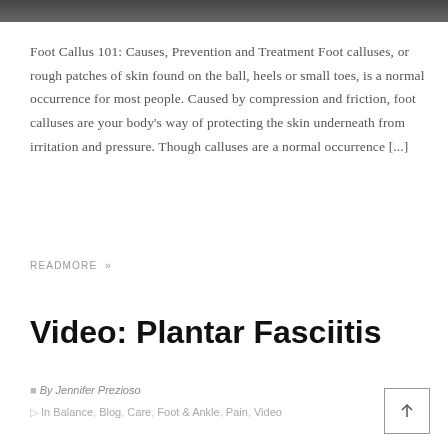[Figure (photo): Top portion of a photograph, cropped, showing a dark background]
Foot Callus 101: Causes, Prevention and Treatment Foot calluses, or rough patches of skin found on the ball, heels or small toes, is a normal occurrence for most people. Caused by compression and friction, foot calluses are your body's way of protecting the skin underneath from irritation and pressure. Though calluses are a normal occurrence [...]
READMORE »
Video: Plantar Fasciitis
By Jennifer Prezioso
In Balance, Blog, Care, Foot & Ankle, Pain, Video